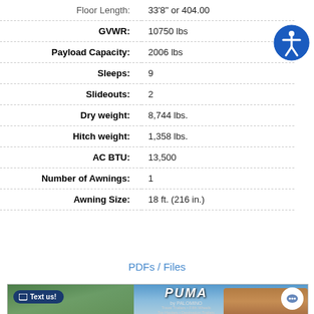| Spec | Value |
| --- | --- |
| Floor Length: | 33'8" or 404.00 |
| GVWR: | 10750 lbs |
| Payload Capacity: | 2006 lbs |
| Sleeps: | 9 |
| Slideouts: | 2 |
| Dry weight: | 8,744 lbs. |
| Hitch weight: | 1,358 lbs. |
| AC BTU: | 13,500 |
| Number of Awnings: | 1 |
| Awning Size: | 18 ft. (216 in.) |
PDFs / Files
[Figure (photo): Puma by Palomino travel trailer brochure cover showing a family running outdoors with red rock formations in the background, with a 'Text us!' button overlay and chat button overlay.]